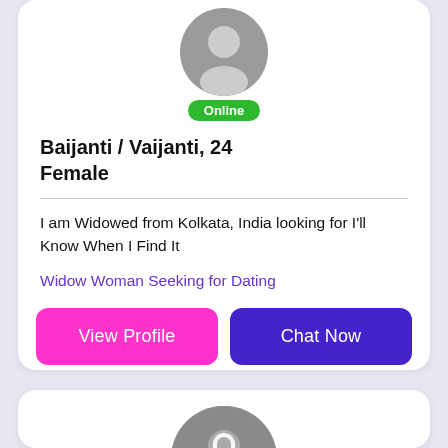[Figure (illustration): Partial user profile card. Gray avatar circle with default person icon, green Online badge below.]
Baijanti / Vaijanti, 24
Female
I am Widowed from Kolkata, India looking for I'll Know When I Find It
Widow Woman Seeking for Dating
View Profile
Chat Now
[Figure (illustration): Second user profile card. Locked/private avatar circle with padlock icon, green Online badge below.]